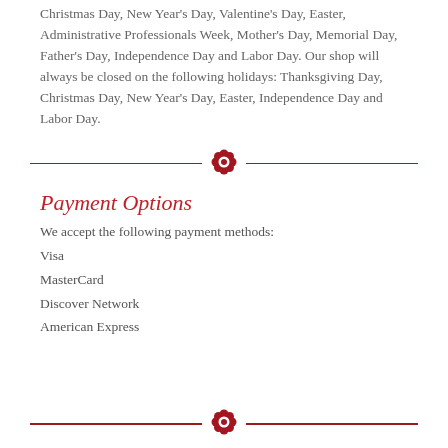Christmas Day, New Year's Day, Valentine's Day, Easter, Administrative Professionals Week, Mother's Day, Memorial Day, Father's Day, Independence Day and Labor Day. Our shop will always be closed on the following holidays: Thanksgiving Day, Christmas Day, New Year's Day, Easter, Independence Day and Labor Day.
[Figure (illustration): Decorative floral divider: two horizontal dark red lines with a red flower/rosette icon centered between them]
Payment Options
We accept the following payment methods:
Visa
MasterCard
Discover Network
American Express
[Figure (illustration): Decorative floral divider: two horizontal dark red lines with a red flower/rosette icon centered between them]